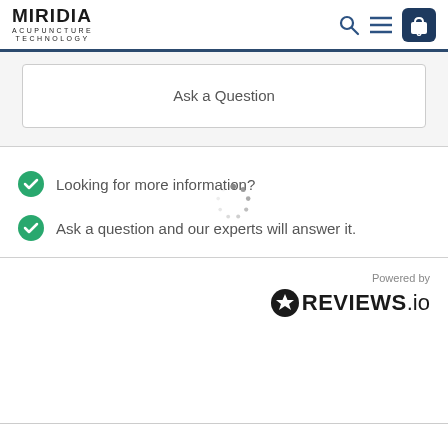Miridia Acupuncture Technology
Ask a Question
Looking for more information?
Ask a question and our experts will answer it.
Powered by REVIEWS.io